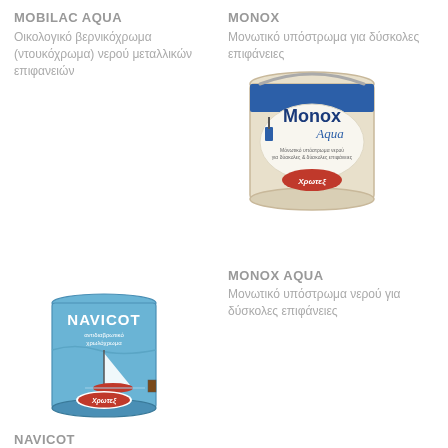MOBILAC AQUA
Οικολογικό βερνικόχρωμα (ντουκόχρωμα) νερού μεταλλικών επιφανειών
MONOX
Μονωτικό υπόστρωμα για δύσκολες επιφάνειες
[Figure (photo): Monox Aqua product bucket - a white/cream plastic bucket with blue Monox Aqua branding and Χρωτεχ logo]
MONOX AQUA
Μονωτικό υπόστρωμα νερού για δύσκολες επιφάνειες
[Figure (photo): Navicot paint can - a small blue tin with NAVICOT branding, sailing boat illustration and Χρωτεχ logo]
NAVICOT